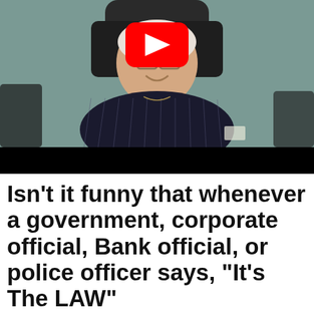[Figure (screenshot): YouTube video thumbnail showing an older man with glasses and white hair, wearing a dark pinstripe shirt, seated in a black chair in front of a teal/grey background. A red YouTube play button overlay is centered in the upper portion of the image. The bottom portion of the video is a black bar.]
Isn’t it funny that whenever a government, corporate official, Bank official, or police officer says, “It’s The LAW”